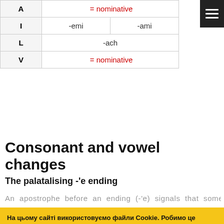| Case | Ending1 | Ending2 |
| --- | --- | --- |
| A | = nominative |  |
| I | -emi | -ami |
| L | -ach |  |
| V | = nominative |  |
Consonant and vowel changes
The palatalising -'e ending
An apostrophe before an ending (-'e) signals that some
На цьому сайті використовуємо файли Cookie. Робимо це заради двох цілей:
1. для зберігання на вашому пристрої ваших результатів в грі Картинки і слова і для показу статистики тих результатів на сторінці Ваші результати ; ці результати недоступні ішним
ОК, зрозуміло.